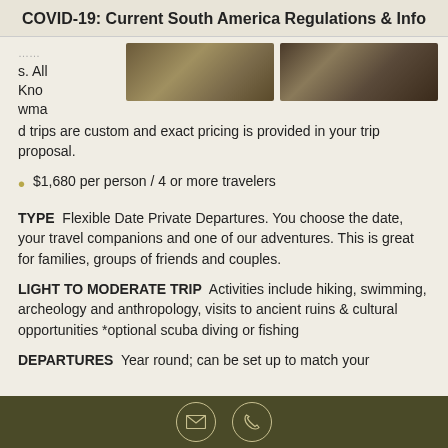COVID-19: Current South America Regulations & Info
[Figure (photo): Two outdoor travel/adventure photos side by side showing people in natural settings]
s. All Knowmad trips are custom and exact pricing is provided in your trip proposal.
$1,680 per person / 4 or more travelers
TYPE  Flexible Date Private Departures. You choose the date, your travel companions and one of our adventures. This is great for families, groups of friends and couples.
LIGHT TO MODERATE TRIP  Activities include hiking, swimming, archeology and anthropology, visits to ancient ruins & cultural opportunities *optional scuba diving or fishing
DEPARTURES  Year round; can be set up to match your